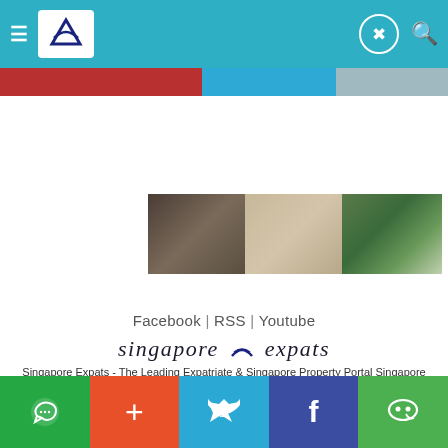Singapore Expats navigation bar with hamburger menu, logo, profile icon, and search icon
[Figure (photo): Partial top image strip showing colorful banner photos cut off at top of page]
[Figure (photo): Property interior and exterior banner image showing luxury home rooms and garden]
Facebook | RSS | Youtube
[Figure (logo): Singapore Expats logo with stylized wave symbol between 'singapore' and 'expats' in serif italic font]
Singapore Expats - The Leading Expatriate & Singapore Property Portal Singapore Property, Singapore guide on expat relocation, Singapore housing, living. Sales, rental of apartment, Singapore condo, house, HDB flat. Copyright © 2002 to 2022 SingaporeExpats.com Pte Ltd, All Rights Reserved. Terms and Conditions of Use.
WhatsApp | Add | Twitter | Facebook | WeChat social share bar